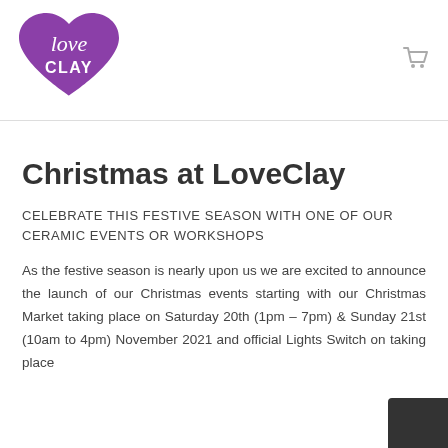[Figure (logo): LoveClay logo — purple heart shape with 'Love' in white script and 'CLAY' in white bold sans-serif]
[Figure (other): Shopping cart icon in grey]
Christmas at LoveClay
CELEBRATE THIS FESTIVE SEASON WITH ONE OF OUR CERAMIC EVENTS OR WORKSHOPS
As the festive season is nearly upon us we are excited to announce the launch of our Christmas events starting with our Christmas Market taking place on Saturday 20th (1pm – 7pm) & Sunday 21st (10am to 4pm) November 2021 and official Lights Switch on taking place